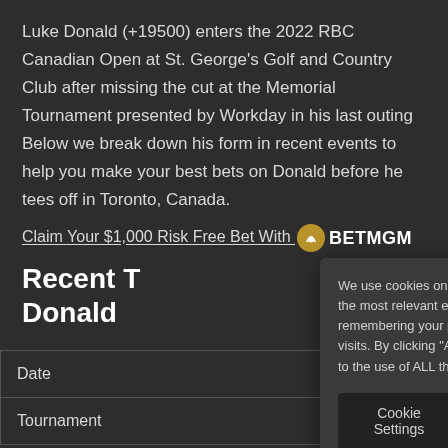Luke Donald (+19500) enters the 2022 RBC Canadian Open at St. George's Golf and Country Club after missing the cut at the Memorial Tournament presented by Workday in his last outing Below we break down his form in recent events to help you make your best bets on Donald before he tees off in Toronto, Canada.
Claim Your $1,000 Risk Free Bet With BETMGM
Recent T... Donald
| Date | Tournament |
| --- | --- |
We use cookies on our website to give you the most relevant experience by remembering your preferences and repeat visits. By clicking "Accept All", you consent to the use of ALL the cookies.